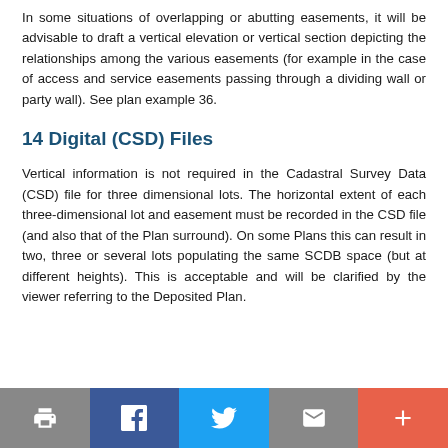In some situations of overlapping or abutting easements, it will be advisable to draft a vertical elevation or vertical section depicting the relationships among the various easements (for example in the case of access and service easements passing through a dividing wall or party wall). See plan example 36.
14 Digital (CSD) Files
Vertical information is not required in the Cadastral Survey Data (CSD) file for three dimensional lots. The horizontal extent of each three-dimensional lot and easement must be recorded in the CSD file (and also that of the Plan surround). On some Plans this can result in two, three or several lots populating the same SCDB space (but at different heights). This is acceptable and will be clarified by the viewer referring to the Deposited Plan.
Print | Facebook | Twitter | Email | +